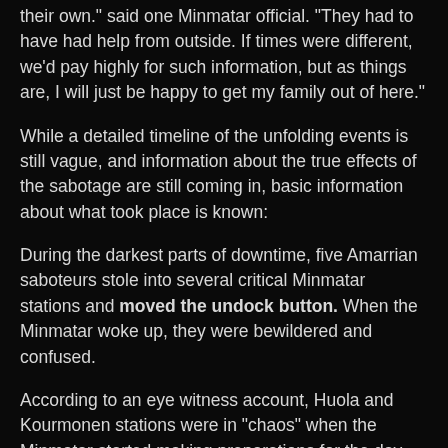"I don't believe that the Amarr had it in them to do this on their own." said one Minmatar official. "They had to have had help from outside. If times were different, we'd pay highly for such information, but as things are, I will just be happy to get my family out of here."
While a detailed timeline of the unfolding events is still vague, and information about the true effects of the sabotage are still coming in, basic information about what took place is known:
During the darkest parts of downtime, five Amarrian saboteurs stole into several critical Minmatar stations and moved the undock button. When the Minmatar woke up, they were bewildered and confused.
According to an eye witness account, Huola and Kourmonen stations were in "chaos" when the Minmatar started making preparations for the day.
"It was scary at first." said one civilian who had been visiting her military nephew stationed at Huola. "At first we thought it